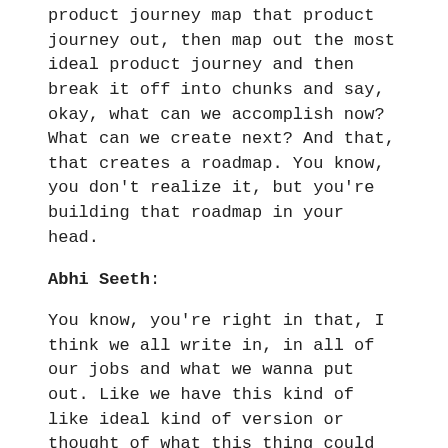product journey map that product journey out, then map out the most ideal product journey and then break it off into chunks and say, okay, what can we accomplish now? What can we create next? And that, that creates a roadmap. You know, you don't realize it, but you're building that roadmap in your head.
Abhi Seeth:
You know, you're right in that, I think we all write in, in all of our jobs and what we wanna put out. Like we have this kind of like ideal kind of version or thought of what this thing could be. But oftentimes, right, like we don't actually go out and test those assumptions. Mm-Hmm <affirmative>. And what you said there, I think is so important because you have to be visionary, right? You have to start somewhere and have an idea, but at the same time, you gotta go out and test that idea and, and be very meticulous in your measurement of, you know, if you think this video is gonna lead to a, a particular action that you want a customer desire, or you maybe start